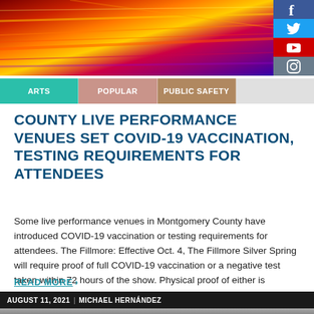[Figure (photo): Colorful abstract header image with red, orange, and purple motion-blur light streaks]
[Figure (infographic): Social media icons column: Facebook (blue), Twitter (light blue), YouTube (red), Instagram (gray)]
ARTS | POPULAR | PUBLIC SAFETY
COUNTY LIVE PERFORMANCE VENUES SET COVID-19 VACCINATION, TESTING REQUIREMENTS FOR ATTENDEES
Some live performance venues in Montgomery County have introduced COVID-19 vaccination or testing requirements for attendees. The Fillmore: Effective Oct. 4, The Fillmore Silver Spring will require proof of full COVID-19 vaccination or a negative test taken within 72 hours of the show. Physical proof of either is required and some shows will enforce the [...]
READ MORE >
AUGUST 11, 2021 | MICHAEL HERNÁNDEZ
[Figure (photo): Partial bottom image, appears to show a device or object, gray tones]